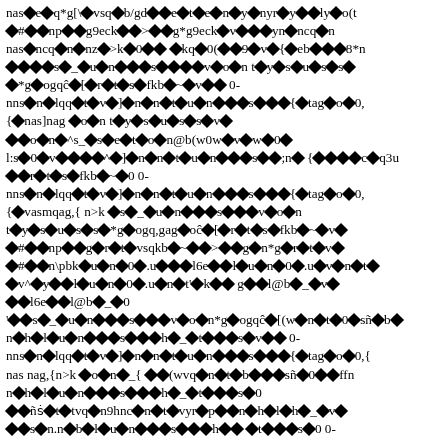Corrupted/encoded text content with diamond replacement characters throughout the page — appears to be garbled encoded text with mixed ASCII and replacement characters